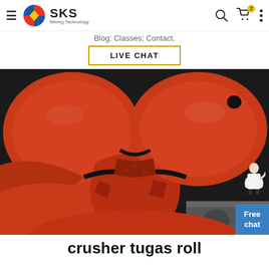SKS Mining Technology — Blog; Classes; Contact.
Blog; Classes; Contact.
LIVE CHAT
[Figure (photo): Close-up photo of red industrial crusher roll components — large red cylindrical drum parts of a roll crusher machine, with black gaps between them and grey metallic base visible at bottom right. A 'Free chat' blue widget with a figure of a person is overlaid on the top right corner.]
crusher tugas roll